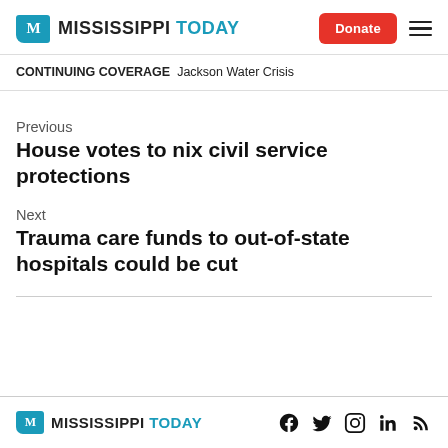Mississippi Today — Donate — Menu
CONTINUING COVERAGE   Jackson Water Crisis
Previous
House votes to nix civil service protections
Next
Trauma care funds to out-of-state hospitals could be cut
Mississippi Today — Facebook, Twitter, Instagram, LinkedIn, RSS